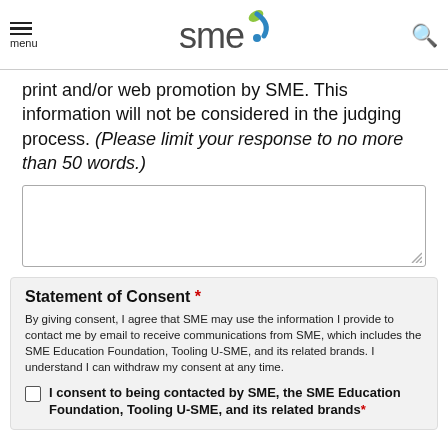SME logo, menu, search
print and/or web promotion by SME. This information will not be considered in the judging process. (Please limit your response to no more than 50 words.)
[Figure (other): Empty textarea input box for user response]
Statement of Consent *
By giving consent, I agree that SME may use the information I provide to contact me by email to receive communications from SME, which includes the SME Education Foundation, Tooling U-SME, and its related brands. I understand I can withdraw my consent at any time.
I consent to being contacted by SME, the SME Education Foundation, Tooling U-SME, and its related brands*